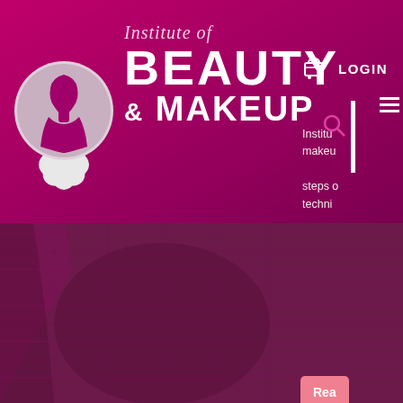[Figure (screenshot): Website screenshot of Institute of Beauty & Makeup. Header shows logo with female silhouette in circle with flower, brand name 'Institute of BEAUTY & MAKEUP', search icon, divider bar, cart icon, LOGIN text, hamburger menu. Right panel shows partial body text about institute makeup steps and techniques, a salmon-colored Read More button, ABOUT US section with About Us and FAQ links, and a shopping basket floating button with 0 count badge. Background shows deep magenta/purple burlap-textured fabric.]